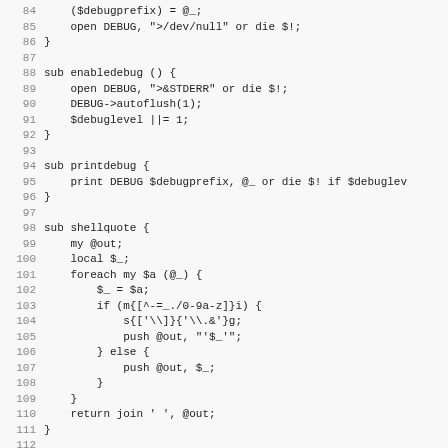Source code listing, lines 84-115, Perl code with subroutines disabledebug, enabledebug, printdebug, shellquote, printcmd